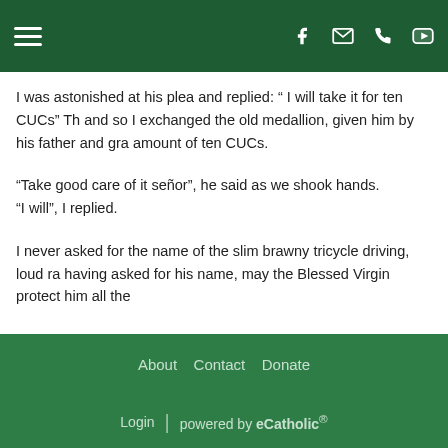Navigation header with hamburger menu and social icons (Facebook, email, phone, YouTube)
I was astonished at his plea and replied: “ I will take it for ten CUCs” Th and so I exchanged the old medallion, given him by his father and gra amount of ten CUCs.
“Take good care of it señor”, he said as we shook hands.
“I will”, I replied.
I never asked for the name of the slim brawny tricycle driving, loud ra having asked for his name, may the Blessed Virgin protect him all the
About  Contact  Donate
Login | powered by eCatholic®